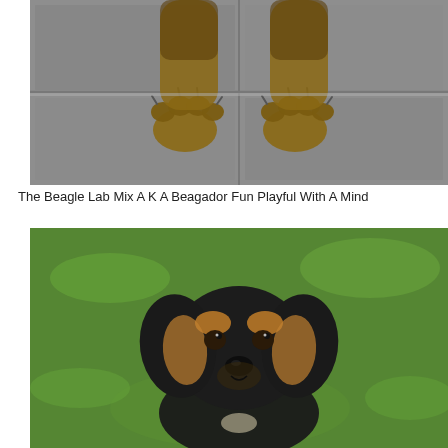[Figure (photo): Close-up photo of puppy paws on a grey stone pavement — a beagle lab mix puppy lying down showing its front paws and claws on concrete tiles.]
The Beagle Lab Mix A K A Beagador Fun Playful With A Mind
[Figure (photo): Portrait photo of a young beagle lab mix puppy (Beagador) with black and tan coloring, large floppy ears, sitting in green grass and looking directly at the camera.]